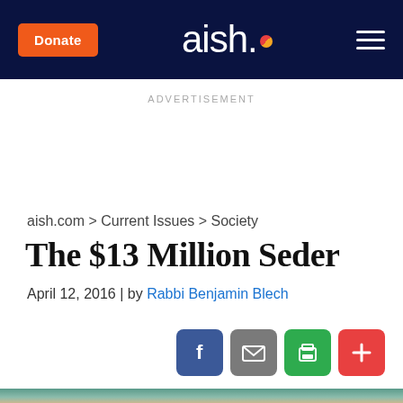Donate | aish. | (menu)
ADVERTISEMENT
aish.com > Current Issues > Society
The $13 Million Seder
April 12, 2016 | by Rabbi Benjamin Blech
[Figure (screenshot): Social sharing buttons: Facebook (blue), Email (gray), Print (green), Add/More (red)]
[Figure (photo): Close-up photo of what appears to be matzo or bread with crumbs, with a teal/green background]